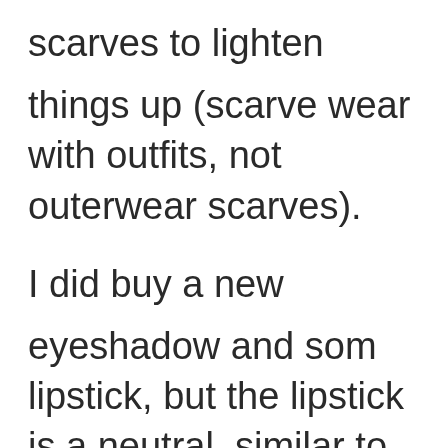scarves to lighten things up (scarves to wear with outfits, not outerwear scarves).
I did buy a new eyeshadow and some lipstick, but the lipstick is a neutral similar to what I was already wearing. Your post has made me think that a very different lip color may be in or. I also like Diana's idea about wearing more jewelry. I do feel like the bling